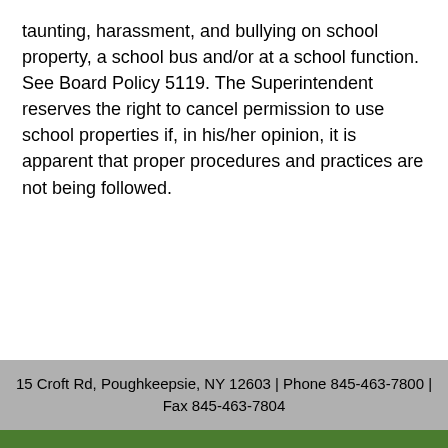taunting, harassment, and bullying on school property, a school bus and/or at a school function.  See Board Policy 5119.  The Superintendent reserves the right to cancel permission to use school properties if, in his/her opinion, it is apparent that proper procedures and practices are not being followed.
15 Croft Rd, Poughkeepsie, NY 12603 | Phone 845-463-7800 | Fax 845-463-7804